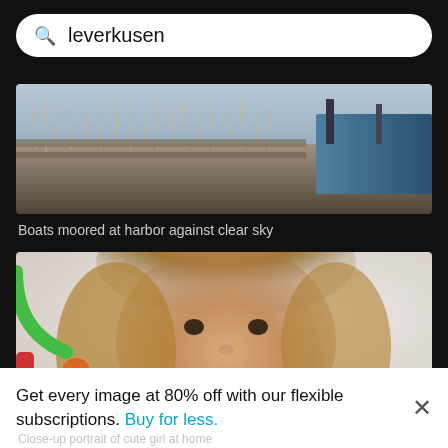leverkusen
[Figure (photo): Boats moored at harbor against clear sky — panoramic photo showing masts, reeds, and a blue boat on the right]
Boats moored at harbor against clear sky
[Figure (photo): Close-up portrait of a smiling young girl with long blonde hair, colorful toy in background]
Get every image at 80% off with our flexible subscriptions. Buy for less.
Close-up portrait of cute girl at home